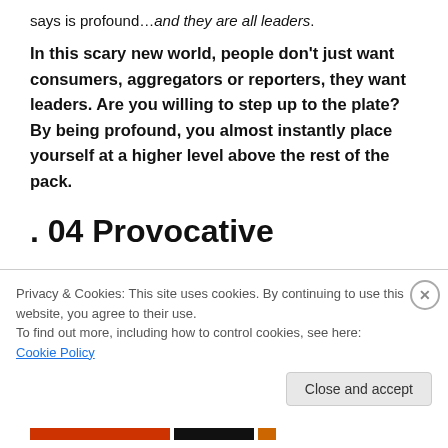says is profound…and they are all leaders.
In this scary new world, people don't just want consumers, aggregators or reporters, they want leaders. Are you willing to step up to the plate? By being profound, you almost instantly place yourself at a higher level above the rest of the pack.
. 04 Provocative
And finally be provactive too. Stir things up. Cause an
Privacy & Cookies: This site uses cookies. By continuing to use this website, you agree to their use. To find out more, including how to control cookies, see here: Cookie Policy
Close and accept